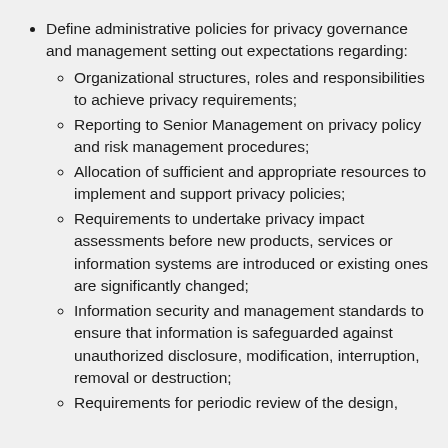Define administrative policies for privacy governance and management setting out expectations regarding:
Organizational structures, roles and responsibilities to achieve privacy requirements;
Reporting to Senior Management on privacy policy and risk management procedures;
Allocation of sufficient and appropriate resources to implement and support privacy policies;
Requirements to undertake privacy impact assessments before new products, services or information systems are introduced or existing ones are significantly changed;
Information security and management standards to ensure that information is safeguarded against unauthorized disclosure, modification, interruption, removal or destruction;
Requirements for periodic review of the design,